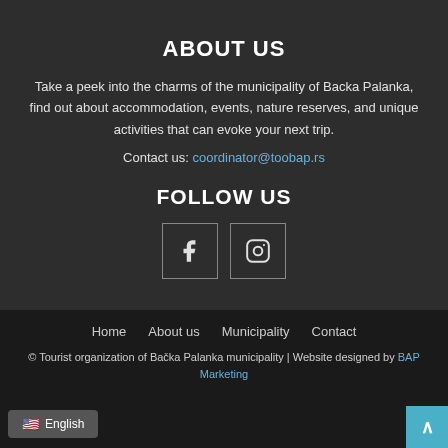ABOUT US
Take a peek into the charms of the municipality of Backa Palanka, find out about accommodation, events, nature reserves, and unique activities that can evoke your next trip.
Contact us: coordinator@toobap.rs
FOLLOW US
[Figure (other): Facebook and Instagram social media icon buttons]
Home | About us | Municipality | Contact
© Tourist organization of Bačka Palanka municipality | Website designed by BAP Marketing
English